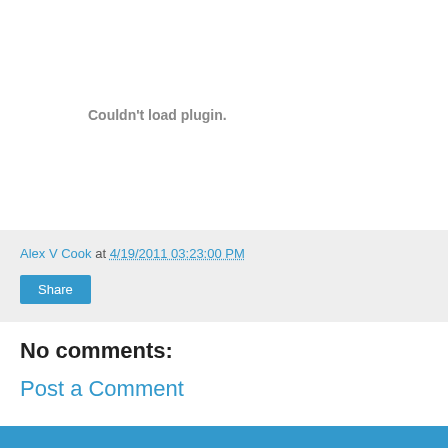Couldn't load plugin.
Alex V Cook at 4/19/2011 03:23:00 PM
Share
No comments:
Post a Comment